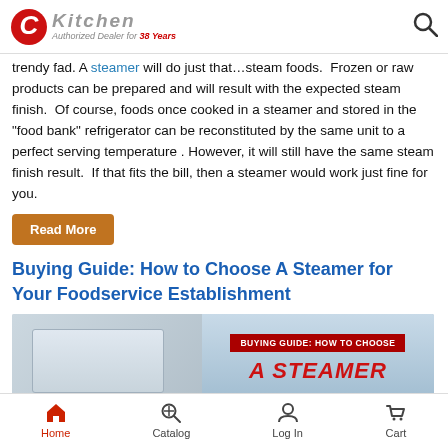CKitchen — Authorized Dealer for 38 Years
trendy fad. A steamer will do just that…steam foods. Frozen or raw products can be prepared and will result with the expected steam finish. Of course, foods once cooked in a steamer and stored in the "food bank" refrigerator can be reconstituted by the same unit to a perfect serving temperature . However, it will still have the same steam finish result. If that fits the bill, then a steamer would work just fine for you.
Read More
Buying Guide: How to Choose A Steamer for Your Foodservice Establishment
[Figure (photo): Article thumbnail image showing a steamer appliance with a banner overlay reading BUYING GUIDE: HOW TO CHOOSE A STEAMER]
Home | Catalog | Log In | Cart